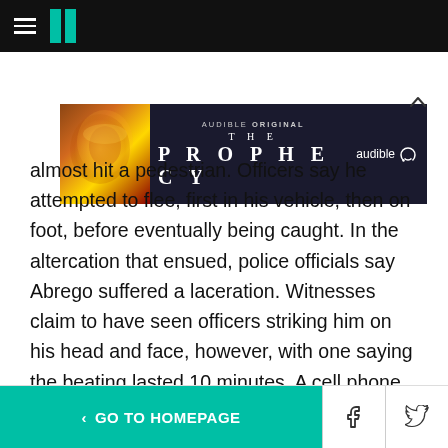HuffPost navigation bar with hamburger menu and logo
[Figure (illustration): Audible Original advertisement banner for 'The Prophecy' audiobook, showing a dark fantasy image with glowing figure, text reading 'audible ORIGINAL THE PROPHECY' with Audible logo]
almost hit a pedestrian. Officers say he attempted to flee, first in his vehicle, then on foot, before eventually being caught. In the altercation that ensued, police officials say Abrego suffered a laceration. Witnesses claim to have seen officers striking him on his head and face, however, with one saying the beating lasted 10 minutes. A cell phone video appears to show a motionless Abrego with a bloodied face, lying on the ground. An ambulance was called to the
< GO TO HOMEPAGE  [Facebook] [Twitter] [X]